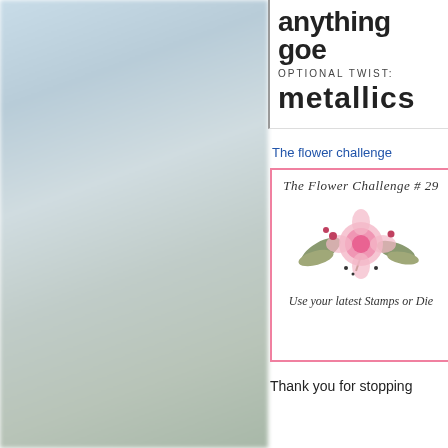[Figure (photo): Blurred outdoor landscape photo showing a road with sky, clouds, and fields]
[Figure (illustration): Challenge graphic showing 'anything goes' text with 'optional twist: metallics' in bold typography with decorative border]
The flower challenge
[Figure (illustration): The Flower Challenge #29 banner with pink floral watercolor arrangement and text 'Use your latest Stamps or Die']
Thank you for stopping